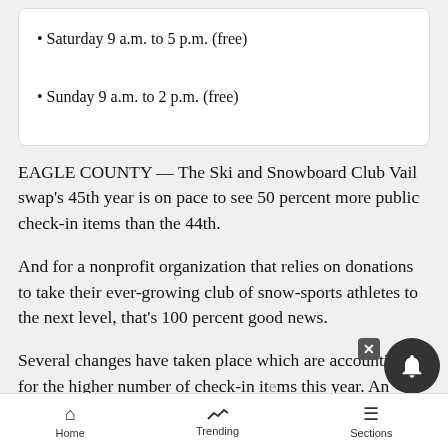Saturday 9 a.m. to 5 p.m. (free)
Sunday 9 a.m. to 2 p.m. (free)
EAGLE COUNTY — The Ski and Snowboard Club Vail swap's 45th year is on pace to see 50 percent more public check-in items than the 44th.
And for a nonprofit organization that relies on donations to take their ever-growing club of snow-sports athletes to the next level, that's 100 percent good news.
Several changes have taken place which are accounting for the higher number of check-in items this year. An increase in the number of equipment drop-off days leading up to the event, as well as a